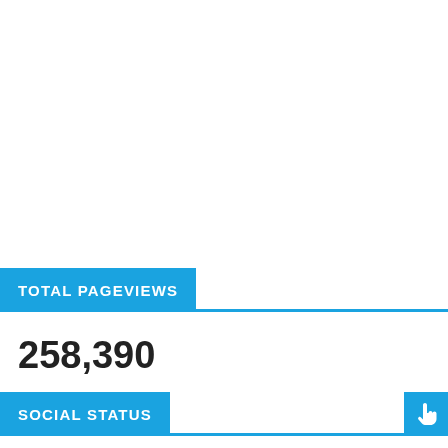TOTAL PAGEVIEWS
258,390
SOCIAL STATUS